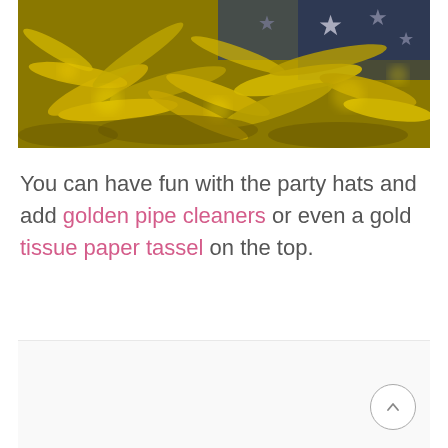[Figure (photo): A close-up photo of shiny golden metallic confetti/streamers with blurred blue star decorations in the background, party-themed]
You can have fun with the party hats and add golden pipe cleaners or even a gold tissue paper tassel on the top.